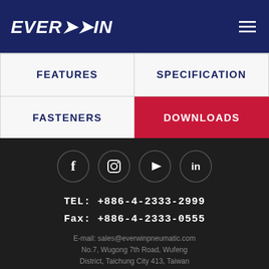EVERWIN
| FEATURES | SPECIFICATION |
| --- | --- |
| FASTENERS | DOWNLOADS |
[Figure (other): Four social media icon circles: Facebook (f), Instagram, YouTube (play button), LinkedIn (in)]
TEL: +886-4-2333-2999
Fax: +886-4-2333-0555
E-mail: sales@everwinpneumatic.com
No.7, Wugong 7th Road, Wufeng
District, Taichung City 413, Taiwan